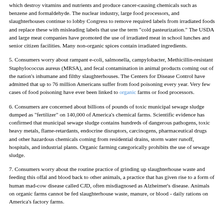which destroy vitamins and nutrients and produce cancer-causing chemicals such as benzene and formaldehyde. The nuclear industry, large food processors, and slaughterhouses continue to lobby Congress to remove required labels from irradiated foods and replace these with misleading labels that use the term "cold pasteurization." The USDA and large meat companies have promoted the use of irradiated meat in school lunches and senior citizen facilities. Many non-organic spices contain irradiated ingredients.
5. Consumers worry about rampant e-coli, salmonella, campylobacter, Methicillin-resistant Staphylococcus aureus (MRSA), and fecal contamination in animal products coming out of the nation's inhumane and filthy slaughterhouses. The Centers for Disease Control have admitted that up to 76 million Americans suffer from food poisoning every year. Very few cases of food poisoning have ever been linked to organic farms or food processors.
6. Consumers are concerned about billions of pounds of toxic municipal sewage sludge dumped as "fertilizer" on 140,000 of America's chemical farms. Scientific evidence has confirmed that municipal sewage sludge contains hundreds of dangerous pathogens, toxic heavy metals, flame-retardants, endocrine disruptors, carcinogens, pharmaceutical drugs and other hazardous chemicals coming from residential drains, storm water runoff, hospitals, and industrial plants. Organic farming categorically prohibits the use of sewage sludge.
7. Consumers worry about the routine practice of grinding up slaughterhouse waste and feeding this offal and blood back to other animals, a practice that has given rise to a form of human mad-cow disease called CJD, often misdiagnosed as Alzheimer's disease. Animals on organic farms cannot be fed slaughterhouse waste, manure, or blood - daily rations on America's factory farms.